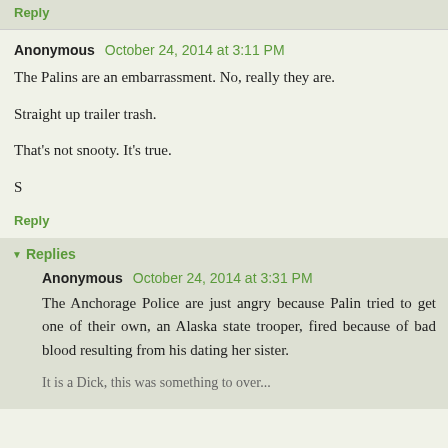Reply
Anonymous  October 24, 2014 at 3:11 PM
The Palins are an embarrassment. No, really they are.

Straight up trailer trash.

That's not snooty. It's true.

S
Reply
Replies
Anonymous  October 24, 2014 at 3:31 PM
The Anchorage Police are just angry because Palin tried to get one of their own, an Alaska state trooper, fired because of bad blood resulting from his dating her sister.
It's a Dick, this was something to over...